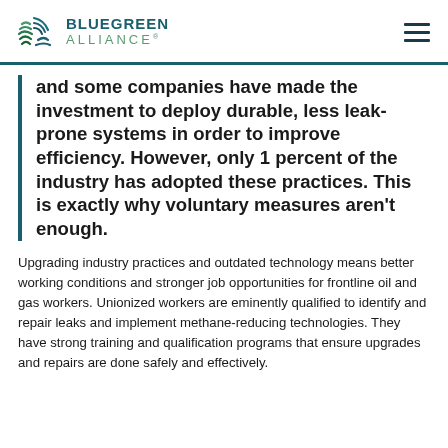BLUEGREEN ALLIANCE
and some companies have made the investment to deploy durable, less leak-prone systems in order to improve efficiency. However, only 1 percent of the industry has adopted these practices. This is exactly why voluntary measures aren't enough.
Upgrading industry practices and outdated technology means better working conditions and stronger job opportunities for frontline oil and gas workers. Unionized workers are eminently qualified to identify and repair leaks and implement methane-reducing technologies. They have strong training and qualification programs that ensure upgrades and repairs are done safely and effectively.